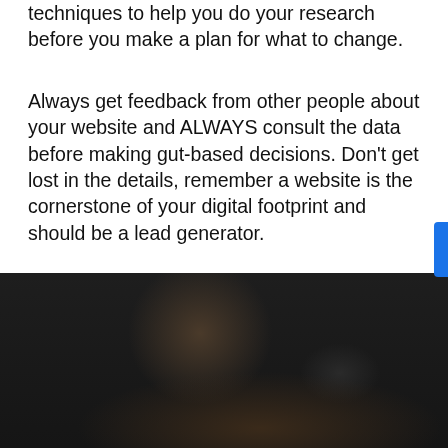techniques to help you do your research before you make a plan for what to change.
Always get feedback from other people about your website and ALWAYS consult the data before making gut-based decisions. Don't get lost in the details, remember a website is the cornerstone of your digital footprint and should be a lead generator.
[Figure (photo): Dark photograph of a person seated at a round table, photographed from above/side, in a dimly lit environment with dark curtains in the background.]